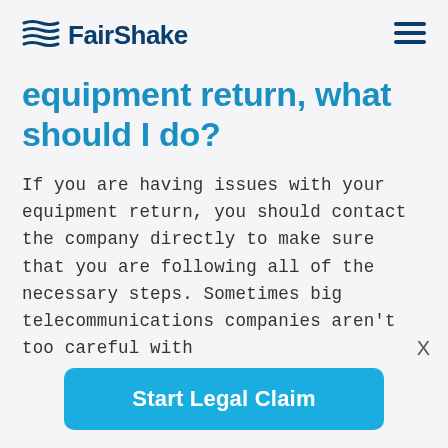FairShake
equipment return, what should I do?
If you are having issues with your equipment return, you should contact the company directly to make sure that you are following all of the necessary steps. Sometimes big telecommunications companies aren't too careful with
X
Start Legal Claim